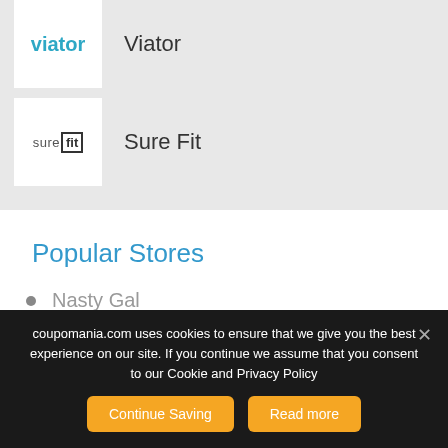[Figure (logo): Viator logo in teal/blue text]
Viator
[Figure (logo): Sure Fit logo with 'sure' in grey and 'fit' in a box border]
Sure Fit
Popular Stores
Nasty Gal
coupomania.com uses cookies to ensure that we give you the best experience on our site. If you continue we assume that you consent to our Cookie and Privacy Policy
Continue Saving
Read more